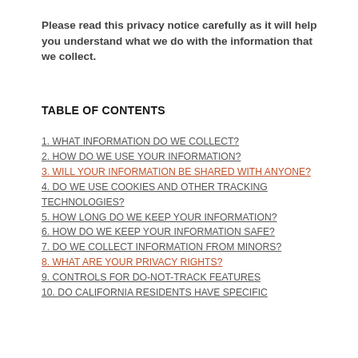Please read this privacy notice carefully as it will help you understand what we do with the information that we collect.
TABLE OF CONTENTS
1. WHAT INFORMATION DO WE COLLECT?
2. HOW DO WE USE YOUR INFORMATION?
3. WILL YOUR INFORMATION BE SHARED WITH ANYONE?
4. DO WE USE COOKIES AND OTHER TRACKING TECHNOLOGIES?
5. HOW LONG DO WE KEEP YOUR INFORMATION?
6. HOW DO WE KEEP YOUR INFORMATION SAFE?
7. DO WE COLLECT INFORMATION FROM MINORS?
8. WHAT ARE YOUR PRIVACY RIGHTS?
9. CONTROLS FOR DO-NOT-TRACK FEATURES
10. DO CALIFORNIA RESIDENTS HAVE SPECIFIC